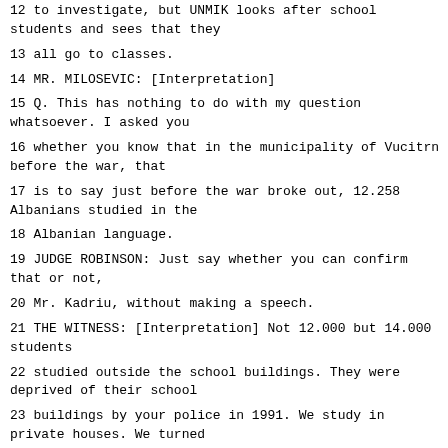12 to investigate, but UNMIK looks after school students and sees that they
13 all go to classes.
14 MR. MILOSEVIC: [Interpretation]
15 Q. This has nothing to do with my question whatsoever. I asked you
16 whether you know that in the municipality of Vucitrn before the war, that
17 is to say just before the war broke out, 12.258 Albanians studied in the
18 Albanian language.
19 JUDGE ROBINSON: Just say whether you can confirm that or not,
20 Mr. Kadriu, without making a speech.
21 THE WITNESS: [Interpretation] Not 12.000 but 14.000 students
22 studied outside the school buildings. They were deprived of their school
23 buildings by your police in 1991. We study in private houses. We turned